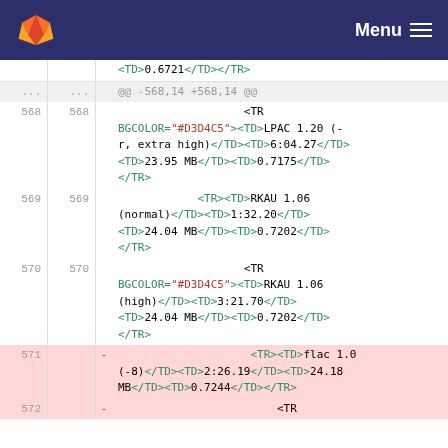GitLab — Menu
<TD>0.6721</TD></TR>
@@ -568,14 +568,14 @@
568 568   <TR BGCOLOR="#D3D4C5"><TD>LPAC 1.20 (-r, extra high)</TD><TD>6:04.27</TD><TD>23.95 MB</TD><TD>0.7175</TD></TR>
569 569   <TR><TD>RKAU 1.06 (normal)</TD><TD>1:32.20</TD><TD>24.04 MB</TD><TD>0.7202</TD></TR>
570 570   <TR BGCOLOR="#D3D4C5"><TD>RKAU 1.06 (high)</TD><TD>3:21.70</TD><TD>24.04 MB</TD><TD>0.7202</TD></TR>
571  -  <TR><TD>flac 1.0 (-8)</TD><TD>2:26.19</TD><TD>24.18 MB</TD><TD>0.7244</TD></TR>
572  -  <TR